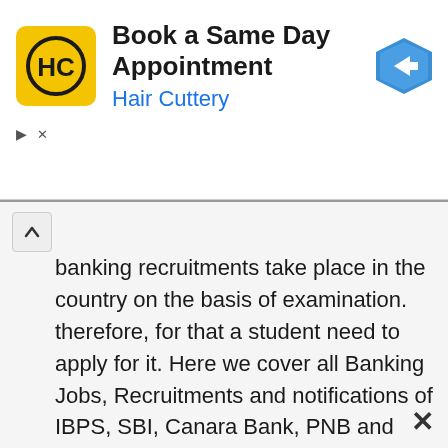[Figure (screenshot): Hair Cuttery advertisement banner. Yellow square logo with 'HC' in black circle. Text: 'Book a Same Day Appointment' in bold black, 'Hair Cuttery' in blue. Blue diamond navigation arrow icon on right. Play/close controls below.]
banking recruitments take place in the country on the basis of examination. therefore, for that a student need to apply for it. Here we cover all Banking Jobs, Recruitments and notifications of IBPS, SBI, Canara Bank, PNB and other major government banks in India. recently state bank of India released recruitment drive for probationary officer, management trainee and clerical staff. for those we have covered